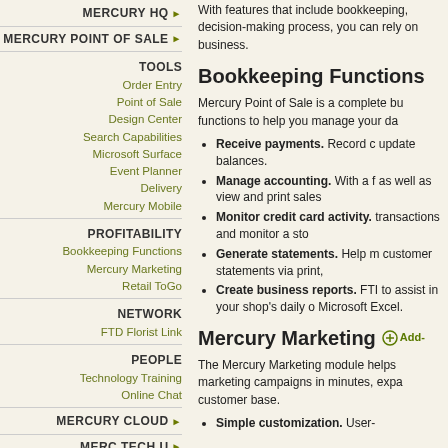MERCURY HQ ▶
MERCURY POINT OF SALE ▶
TOOLS
Order Entry
Point of Sale
Design Center
Search Capabilities
Microsoft Surface
Event Planner
Delivery
Mercury Mobile
PROFITABILITY
Bookkeeping Functions
Mercury Marketing
Retail ToGo
NETWORK
FTD Florist Link
PEOPLE
Technology Training
Online Chat
MERCURY CLOUD ▶
MERC TECH U ▶
DATA SECURITY ▶
With features that include bookkeeping, decision-making process, you can rely on business.
Bookkeeping Functions
Mercury Point of Sale is a complete bu functions to help you manage your da
Receive payments. Record c update balances.
Manage accounting. With a f as well as view and print sales
Monitor credit card activity. transactions and monitor a sto
Generate statements. Help m customer statements via print,
Create business reports. FTI to assist in your shop's daily o Microsoft Excel.
Mercury Marketing  Add-
The Mercury Marketing module helps marketing campaigns in minutes, expa customer base.
Simple customization. User-